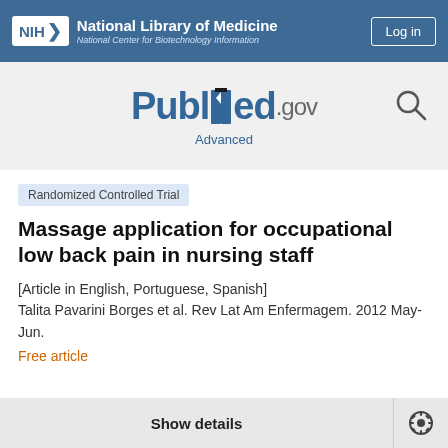NIH National Library of Medicine | National Center for Biotechnology Information | Log in
[Figure (logo): PubMed.gov logo with search icon and Advanced link]
Randomized Controlled Trial
Massage application for occupational low back pain in nursing staff
[Article in English, Portuguese, Spanish]
Talita Pavarini Borges et al. Rev Lat Am Enfermagem. 2012 May-Jun.
Free article
Show details